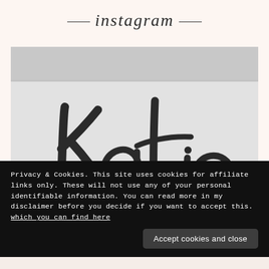instagram
[Figure (photo): Close-up black and white photograph of handwritten calligraphy text reading 'Katie' on textured white paper]
Privacy & Cookies. This site uses cookies for affiliate links only. These will not use any of your personal identifiable information. You can read more in my disclaimer before you decide if you want to accept this. which you can find here
Accept cookies and close